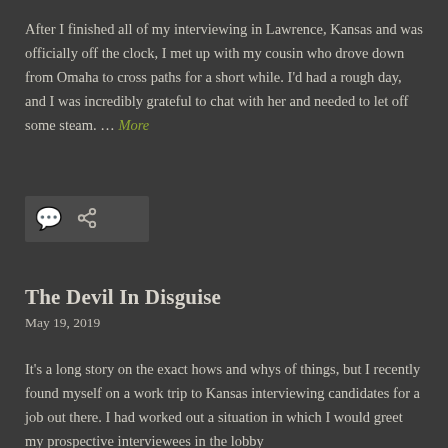After I finished all of my interviewing in Lawrence, Kansas and was officially off the clock, I met up with my cousin who drove down from Omaha to cross paths for a short while. I'd had a rough day, and I was incredibly grateful to chat with her and needed to let off some steam. … More
[Figure (other): Icon bar with comment bubble icon and link/share icon on dark background]
The Devil In Disguise
May 19, 2019
It's a long story on the exact hows and whys of things, but I recently found myself on a work trip to Kansas interviewing candidates for a job out there. I had worked out a situation in which I would greet my prospective interviewees in the lobby